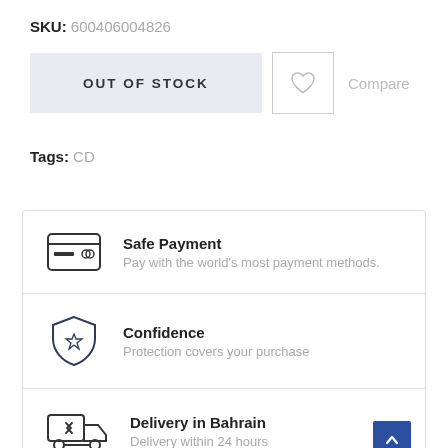SKU: 600406004826
OUT OF STOCK
Compare
Tags: CD
[Figure (infographic): Safe Payment icon (credit card), Confidence icon (shield with star), Delivery in Bahrain icon (delivery truck)]
Safe Payment
Pay with the world's most payment methods.
Confidence
Protection covers your purchase
Delivery in Bahrain
Delivery within 24 hours